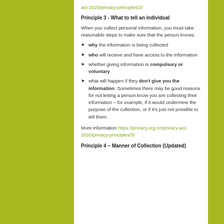act-2020/privacy-principles/2/
Principle 3 - What to tell an individual
When you collect personal information, you must take reasonable steps to make sure that the person knows:
why the information is being collected
who will receive and have access to the information
whether giving information is compulsory or voluntary
what will happen if they don't give you the information. Sometimes there may be good reasons for not letting a person know you are collecting their information – for example, if it would undermine the purpose of the collection, or if it's just not possible to tell them.
More information https://privacy.org.nz/privacy-act-2020/privacy-principles/3/
Principle 4 – Manner of Collection (Updated)